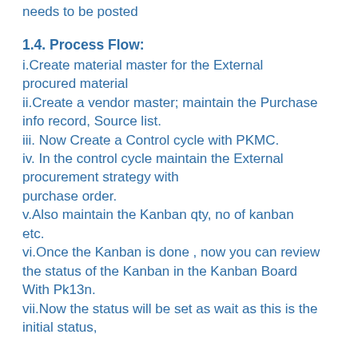needs to be posted
1.4. Process Flow:
i.Create material master for the External procured material
ii.Create a vendor master; maintain the Purchase info record, Source list.
iii. Now Create a Control cycle with PKMC.
iv. In the control cycle maintain the External procurement strategy with purchase order.
v.Also maintain the Kanban qty, no of kanban etc.
vi.Once the Kanban is done , now you can review the status of the Kanban in the Kanban Board With Pk13n.
vii.Now the status will be set as wait as this is the initial status,